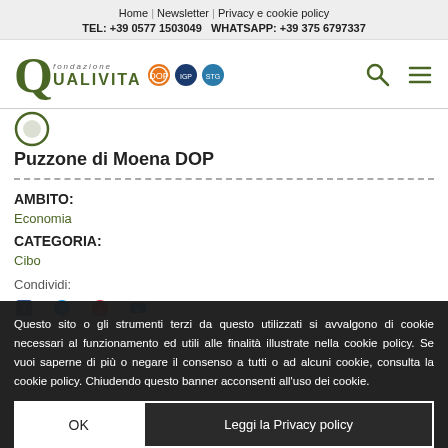Home | Newsletter | Privacy e cookie policy
TEL: +39 0577 1503049 WHATSAPP: +39 375 6797337
[Figure (logo): Fondazione Qualivita logo with Q letter and three certification badges (orange, dark blue, teal)]
Puzzone di Moena DOP
AMBITO:
Economia
CATEGORIA:
Cibo
Condividi:
Questo sito o gli strumenti terzi da questo utilizzati si avvalgono di cookie necessari al funzionamento ed utili alle finalità illustrate nella cookie policy. Se vuoi saperne di più o negare il consenso a tutti o ad alcuni cookie, consulta la cookie policy. Chiudendo questo banner acconsenti all'uso dei cookie.
OK
Leggi la Privacy policy